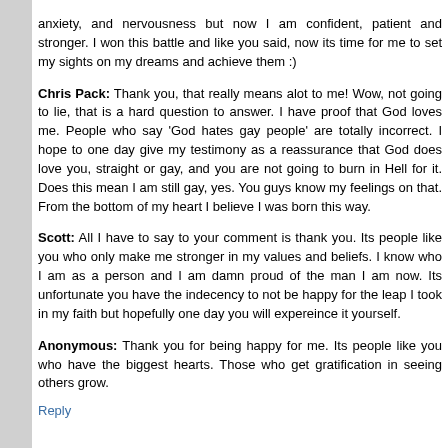anxiety, and nervousness but now I am confident, patient and stronger. I won this battle and like you said, now its time for me to set my sights on my dreams and achieve them :)
Chris Pack: Thank you, that really means alot to me! Wow, not going to lie, that is a hard question to answer. I have proof that God loves me. People who say 'God hates gay people' are totally incorrect. I hope to one day give my testimony as a reassurance that God does love you, straight or gay, and you are not going to burn in Hell for it. Does this mean I am still gay, yes. You guys know my feelings on that. From the bottom of my heart I believe I was born this way.
Scott: All I have to say to your comment is thank you. Its people like you who only make me stronger in my values and beliefs. I know who I am as a person and I am damn proud of the man I am now. Its unfortunate you have the indecency to not be happy for the leap I took in my faith but hopefully one day you will expereince it yourself.
Anonymous: Thank you for being happy for me. Its people like you who have the biggest hearts. Those who get gratification in seeing others grow.
Reply